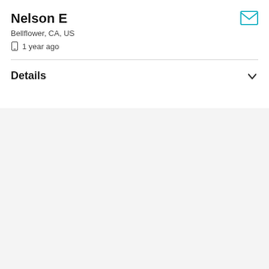Nelson E
Bellflower, CA, US
1 year ago
Details